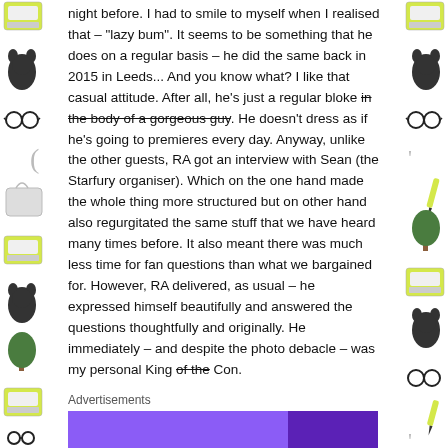night before. I had to smile to myself when I realised that – "lazy bum". It seems to be something that he does on a regular basis – he did the same back in 2015 in Leeds... And you know what? I like that casual attitude. After all, he's just a regular bloke [strikethrough: in the body of a gorgeous guy]. He doesn't dress as if he's going to premieres every day. Anyway, unlike the other guests, RA got an interview with Sean (the Starfury organiser). Which on the one hand made the whole thing more structured but on other hand also regurgitated the same stuff that we have heard many times before. It also meant there was much less time for fan questions than what we bargained for. However, RA delivered, as usual – he expressed himself beautifully and answered the questions thoughtfully and originally. He immediately – and despite the photo debacle – was my personal King [strikethrough: of the] Con.
Advertisements
[Figure (other): Purple advertisement banner, left portion lighter purple, right portion darker purple/indigo]